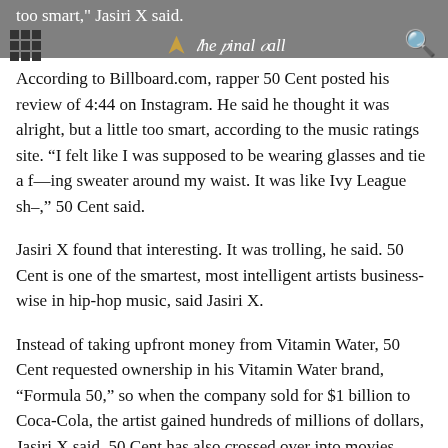The Final Call
too smart," Jasiri X said.
According to Billboard.com, rapper 50 Cent posted his review of 4:44 on Instagram. He said he thought it was alright, but a little too smart, according to the music ratings site. “I felt like I was supposed to be wearing glasses and tie a f—ing sweater around my waist. It was like Ivy League sh–,” 50 Cent said.
Jasiri X found that interesting. It was trolling, he said. 50 Cent is one of the smartest, most intelligent artists business-wise in hip-hop music, said Jasiri X.
Instead of taking upfront money from Vitamin Water, 50 Cent requested ownership in his Vitamin Water brand, “Formula 50,” so when the company sold for $1 billion to Coca-Cola, the artist gained hundreds of millions of dollars, Jasiri X said. 50 Cent has also crossed over into movies, acting and producing.
One of Jay Z’s great strengths is he’s always been about ownership,